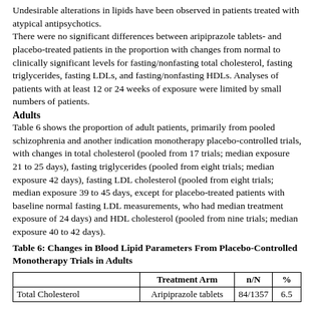Undesirable alterations in lipids have been observed in patients treated with atypical antipsychotics. There were no significant differences between aripiprazole tablets- and placebo-treated patients in the proportion with changes from normal to clinically significant levels for fasting/nonfasting total cholesterol, fasting triglycerides, fasting LDLs, and fasting/nonfasting HDLs. Analyses of patients with at least 12 or 24 weeks of exposure were limited by small numbers of patients.
Adults
Table 6 shows the proportion of adult patients, primarily from pooled schizophrenia and another indication monotherapy placebo-controlled trials, with changes in total cholesterol (pooled from 17 trials; median exposure 21 to 25 days), fasting triglycerides (pooled from eight trials; median exposure 42 days), fasting LDL cholesterol (pooled from eight trials; median exposure 39 to 45 days, except for placebo-treated patients with baseline normal fasting LDL measurements, who had median treatment exposure of 24 days) and HDL cholesterol (pooled from nine trials; median exposure 40 to 42 days).
Table 6: Changes in Blood Lipid Parameters From Placebo-Controlled Monotherapy Trials in Adults
|  | Treatment Arm | n/N | % |
| --- | --- | --- | --- |
| Total Cholesterol | Aripiprazole tablets | 84/1357 | 6.5 |